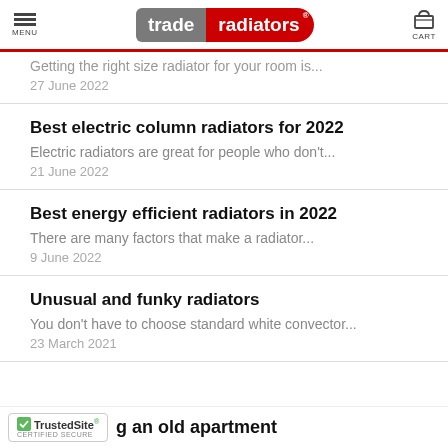MENU | trade radiators | CART
Getting the right size radiator for your room is...
27 June 2022
Best electric column radiators for 2022
Electric radiators are great for people who don't...
21 June 2022
Best energy efficient radiators in 2022
There are many factors that make a radiator...
9 June 2022
Unusual and funky radiators
You don't have to choose standard white convector...
23 March 2021
TrustedSite CERTIFIED SECURE | ...g an old apartment